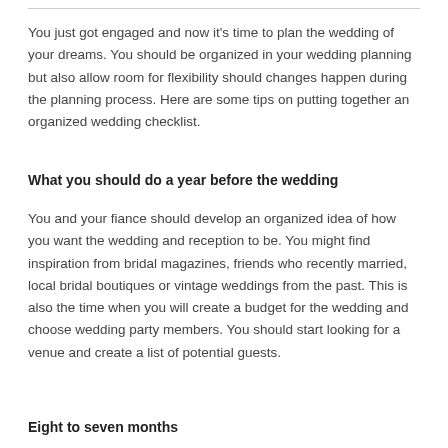You just got engaged and now it's time to plan the wedding of your dreams. You should be organized in your wedding planning but also allow room for flexibility should changes happen during the planning process. Here are some tips on putting together an organized wedding checklist.
What you should do a year before the wedding
You and your fiance should develop an organized idea of how you want the wedding and reception to be. You might find inspiration from bridal magazines, friends who recently married, local bridal boutiques or vintage weddings from the past. This is also the time when you will create a budget for the wedding and choose wedding party members. You should start looking for a venue and create a list of potential guests.
Eight to seven months